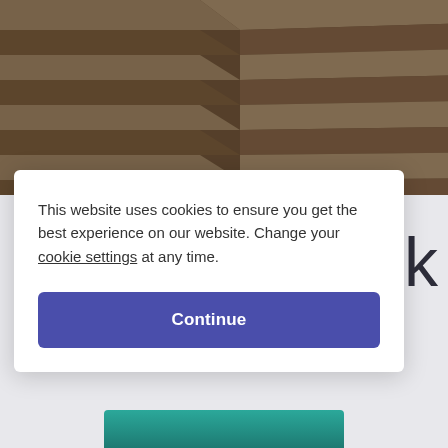[Figure (photo): Aerial view of wooden lecture hall seating/benches arranged diagonally, with dark overlay tint]
This website uses cookies to ensure you get the best experience on our website. Change your cookie settings at any time.
Continue
[Figure (photo): Partially visible photo at bottom of person, appears to show a face/person in teal/green background]